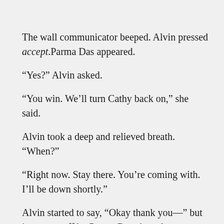The wall communicator beeped. Alvin pressed accept.Parma Das appeared.
“Yes?” Alvin asked.
“You win. We’ll turn Cathy back on,” she said.
Alvin took a deep and relieved breath. “When?”
“Right now. Stay there. You’re coming with. I’ll be down shortly.”
Alvin started to say, “Okay thank you—” but it was cut off by Parma Das abruptly disengaging.
She opened his door ten minutes later. Then with a more pleasant tone of voice than he would have expected, asked, “Ready?”
“Yes.” And he followed